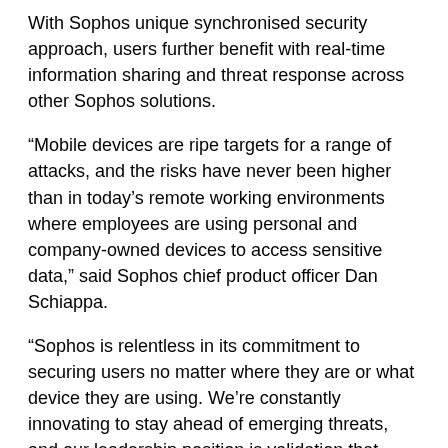With Sophos unique synchronised security approach, users further benefit with real-time information sharing and threat response across other Sophos solutions.
“Mobile devices are ripe targets for a range of attacks, and the risks have never been higher than in today’s remote working environments where employees are using personal and company-owned devices to access sensitive data,” said Sophos chief product officer Dan Schiappa.
“Sophos is relentless in its commitment to securing users no matter where they are or what device they are using. We’re constantly innovating to stay ahead of emerging threats, and our leadership position is validation that we’re succeeding in doing exactly that.”
About IDC MarketScape